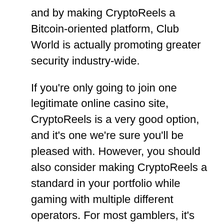and by making CryptoReels a Bitcoin-oriented platform, Club World is actually promoting greater security industry-wide.
If you're only going to join one legitimate online casino site, CryptoReels is a very good option, and it's one we're sure you'll be pleased with. However, you should also consider making CryptoReels a standard in your portfolio while gaming with multiple different operators. For most gamblers, it's always a benefit to have greater options and bigger game selections, which you can do when you sign up at multiple different sites.
Still, for us as gamblers and industry advocates, we think CryptoReels has set the BAR exceptionally high, with a lucky pull of straight 7s right out of the gate!